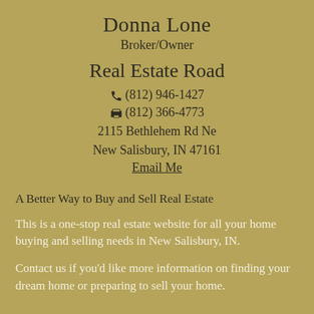Donna Lone
Broker/Owner
Real Estate Road
☎ (812) 946-1427
🖨 (812) 366-4773
2115 Bethlehem Rd Ne
New Salisbury, IN 47161
Email Me
A Better Way to Buy and Sell Real Estate
This is a one-stop real estate website for all your home buying and selling needs in New Salisbury, IN.
Contact us if you'd like more information on finding your dream home or preparing to sell your home.
New Salisbury Real Estate